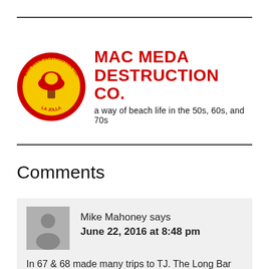[Figure (logo): Mac Meda Destruction Co. circular logo with yellow background, red border, mushroom cloud image and text around the border reading MAC MEDA DESTRUCTION CO. and LA JOLLA]
MAC MEDA DESTRUCTION CO.
a way of beach life in the 50s, 60s, and 70s
Comments
Mike Mahoney says
June 22, 2016 at 8:48 pm
In 67 & 68 made many trips to TJ. The Long Bar